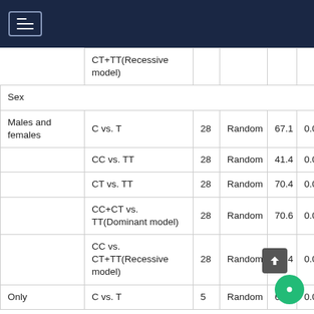|  | Genetic model | N | Model | I²(%) | P |
| --- | --- | --- | --- | --- | --- |
|  | CT+TT(Recessive model) |  |  |  |  |
| Sex |  |  |  |  |  |
| Males and females | C vs. T | 28 | Random | 67.1 | 0.0 |
|  | CC vs. TT | 28 | Random | 41.4 | 0.0 |
|  | CT vs. TT | 28 | Random | 70.4 | 0.0 |
|  | CC+CT vs. TT(Dominant model) | 28 | Random | 70.6 | 0.0 |
|  | CC vs. CT+TT(Recessive model) | 28 | Random | 33.4 | 0.0 |
| Only | C vs. T | 5 | Random | 62.6 | 0.0 |